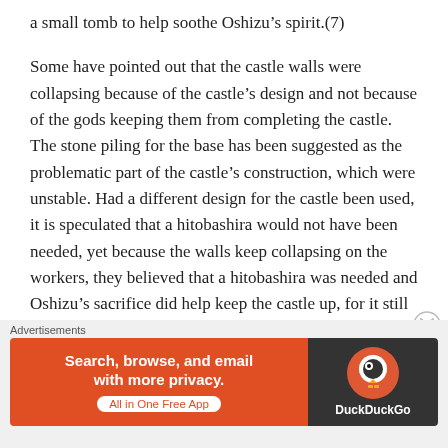a small tomb to help soothe Oshizu's spirit.(7)
Some have pointed out that the castle walls were collapsing because of the castle's design and not because of the gods keeping them from completing the castle. The stone piling for the base has been suggested as the problematic part of the castle's construction, which were unstable. Had a different design for the castle been used, it is speculated that a hitobashira would not have been needed, yet because the walls keep collapsing on the workers, they believed that a hitobashira was needed and Oshizu's sacrifice did help keep the castle up, for it still stands to this day.(8)
[Figure (other): DuckDuckGo advertisement banner: 'Search, browse, and email with more privacy. All in One Free App' with DuckDuckGo logo on dark background]